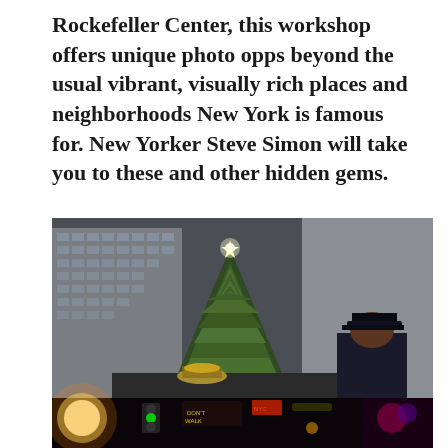Rockefeller Center, this workshop offers unique photo opps beyond the usual vibrant, visually rich places and neighborhoods New York is famous for. New Yorker Steve Simon will take you to these and other hidden gems.
[Figure (photo): Rockefeller Center Christmas tree with star on top, tall decorated evergreen in front of Art Deco skyscraper buildings, security guard in dark uniform and cap visible in lower right, golden Prometheus statue visible at base. Lower strip shows nighttime NYC street scene with bright lights, traffic signals, theater marquees.]